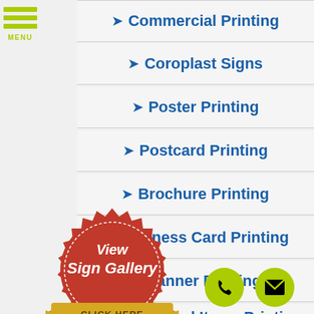MENU
Commercial Printing
Coroplast Signs
Poster Printing
Postcard Printing
Brochure Printing
Business Card Printing
Banner Printing
Binding Services
Promotional Items Printing
[Figure (illustration): Red wax seal badge with gold ribbon banner reading 'View Sign Gallery CLICK HERE']